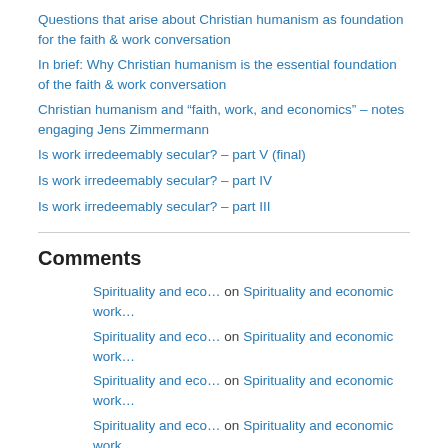Questions that arise about Christian humanism as foundation for the faith & work conversation
In brief: Why Christian humanism is the essential foundation of the faith & work conversation
Christian humanism and “faith, work, and economics” – notes engaging Jens Zimmermann
Is work irredeemably secular? – part V (final)
Is work irredeemably secular? – part IV
Is work irredeemably secular? – part III
Comments
Spirituality and eco… on Spirituality and economic work…
Spirituality and eco… on Spirituality and economic work…
Spirituality and eco… on Spirituality and economic work…
Spirituality and eco… on Spirituality and economic work…
Spirituality and eco… on Spirituality and economic work…
Spirituality and eco… on Spirituality and economic work…
Spirituality and eco… on Spirituality and economic work…